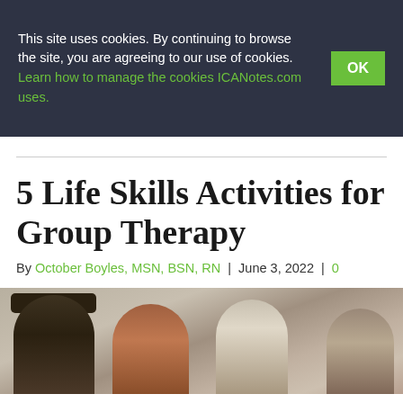This site uses cookies. By continuing to browse the site, you are agreeing to our use of cookies. Learn how to manage the cookies ICANotes.com uses.
5 Life Skills Activities for Group Therapy
By October Boyles, MSN, BSN, RN | June 3, 2022 | 0
[Figure (photo): Group of people shown from behind/side, representing group therapy participants]